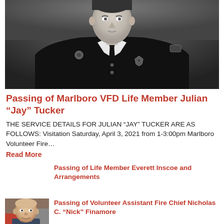[Figure (photo): Black and white portrait photo of Julian 'Jay' Tucker in a dark firefighter/fire department uniform with badges and tie]
Passing of Marlboro VFD Life Member Julian “Jay” Tucker
THE SERVICE DETAILS FOR JULIAN “JAY” TUCKER ARE AS FOLLOWS: Visitation Saturday, April 3, 2021 from 1-3:00pm Marlboro Volunteer Fire…
Read More
Passing of Life Member Everett Inscoe and Arrangements
[Figure (photo): Portrait photo of Nicholas C. 'Nick' Finamore, a bald heavyset man smiling, with firefighting equipment visible in background]
Passing of Volunteer Assistant Fire Chief Nicholas C. “Nick” Finamore